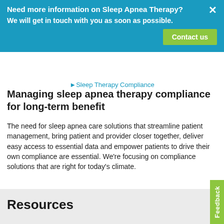Need more information on Sleep Apnea Therapy?
We will get in touch with you as soon as possible.
Contact us
[Figure (other): Sleep Therapy Compliance logo/image placeholder with alt text]
Managing sleep apnea therapy compliance for long-term benefit
The need for sleep apnea care solutions that streamline patient management, bring patient and provider closer together, deliver easy access to essential data and empower patients to drive their own compliance are essential. We're focusing on compliance solutions that are right for today's climate.
Read now
Resources